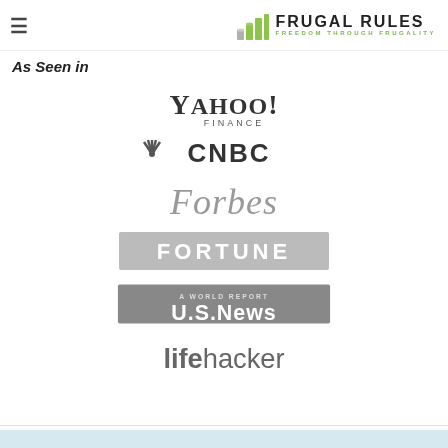FRUGAL RULES — FREEDOM THROUGH FRUGALITY
As Seen in
[Figure (logo): Yahoo! Finance logo in dark gray serif font]
[Figure (logo): CNBC logo with peacock symbol in dark gray]
[Figure (logo): Forbes logo in gray serif italic font]
[Figure (logo): FORTUNE logo in gray block letters on gray rectangle]
[Figure (logo): U.S. News & World Report logo in white on gray rectangle]
[Figure (logo): Lifehacker logo in gray font, 'life' bold and 'hacker' light]